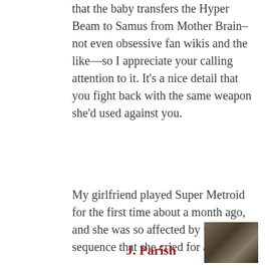that the baby transfers the Hyper Beam to Samus from Mother Brain–not even obsessive fan wikis and the like—so I appreciate your calling attention to it. It's a nice detail that you fight back with the same weapon she'd used against you.
My girlfriend played Super Metroid for the first time about a month ago, and she was so affected by this sequence that she cried for an hour.
J. Parish